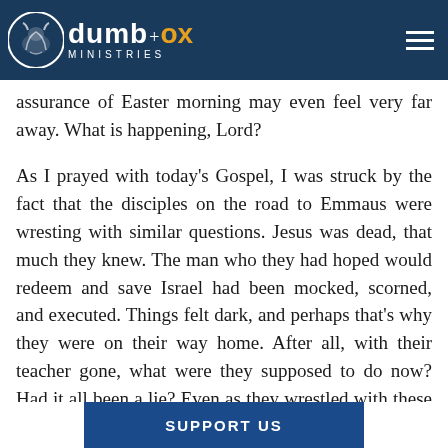Dumb Ox Ministries
...find. Maybe even prayer has been difficult, and God doesn't seem to be listening. The hope and assurance of Easter morning may even feel very far away. What is happening, Lord?
As I prayed with today's Gospel, I was struck by the fact that the disciples on the road to Emmaus were wresting with similar questions. Jesus was dead, that much they knew. The man who they had hoped would redeem and save Israel had been mocked, scorned, and executed. Things felt dark, and perhaps that's why they were on their way home. After all, with their teacher gone, what were they supposed to do now? Had it all been a lie? Even as they wrestled with these difficult questions, they couldn't help but remember their first encounters with Jesus. The words he spoke s...ire as he radically